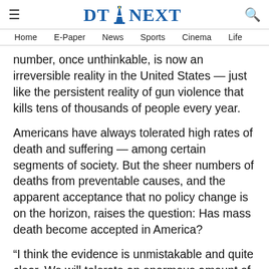DT NEXT — Home | E-Paper | News | Sports | Cinema | Life
number, once unthinkable, is now an irreversible reality in the United States — just like the persistent reality of gun violence that kills tens of thousands of people every year.
Americans have always tolerated high rates of death and suffering — among certain segments of society. But the sheer numbers of deaths from preventable causes, and the apparent acceptance that no policy change is on the horizon, raises the question: Has mass death become accepted in America?
“I think the evidence is unmistakable and quite clear. We will tolerate an enormous amount of carnage, suffering and death in the U.S., because we have over the past two years. We have over our history,” says Gregg Gonsalves, an epidemiologist and professor at Yale who, before that, was a leading member of